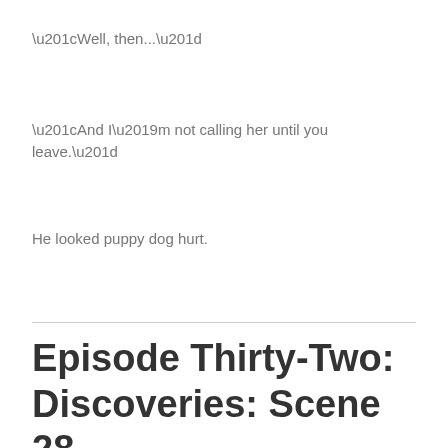“Well, then…”
“And I’m not calling her until you leave.”
He looked puppy dog hurt.
Episode Thirty-Two: Discoveries: Scene 28